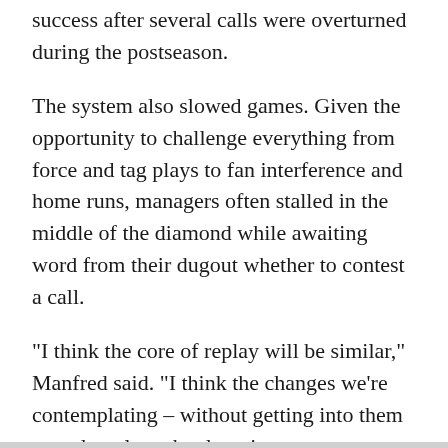success after several calls were overturned during the postseason.
The system also slowed games. Given the opportunity to challenge everything from force and tag plays to fan interference and home runs, managers often stalled in the middle of the diamond while awaiting word from their dugout whether to contest a call.
"I think the core of replay will be similar," Manfred said. "I think the changes we're contemplating – without getting into them – are largely technology improvements. ... I think there are also some issues related to exactly how long it takes to get replay going."